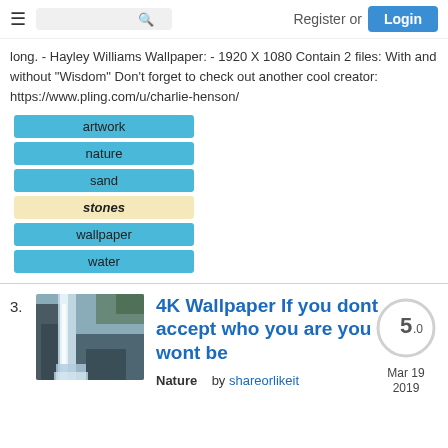Register or Login
long. - Hayley Williams Wallpaper: - 1920 X 1080 Contain 2 files: With and without "Wisdom" Don't forget to check out another cool creator: https://www.pling.com/u/charlie-henson/
artwork
nature
sand
stones
wallpaper
water
4K Wallpaper If you dont accept who you are you wont be
Nature   by shareorlikeit